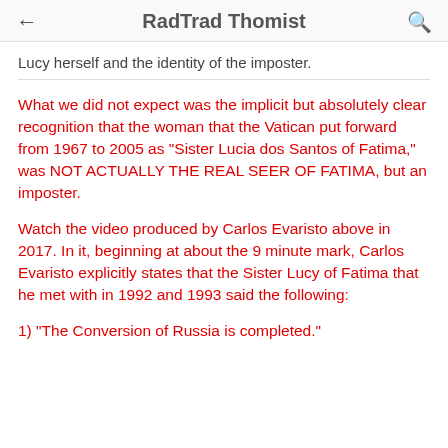RadTrad Thomist
Lucy herself and the identity of the imposter.
What we did not expect was the implicit but absolutely clear recognition that the woman that the Vatican put forward from 1967 to 2005 as "Sister Lucia dos Santos of Fatima," was NOT ACTUALLY THE REAL SEER OF FATIMA, but an imposter.
Watch the video produced by Carlos Evaristo above in 2017. In it, beginning at about the 9 minute mark, Carlos Evaristo explicitly states that the Sister Lucy of Fatima that he met with in 1992 and 1993 said the following:
1) "The Conversion of Russia is completed."